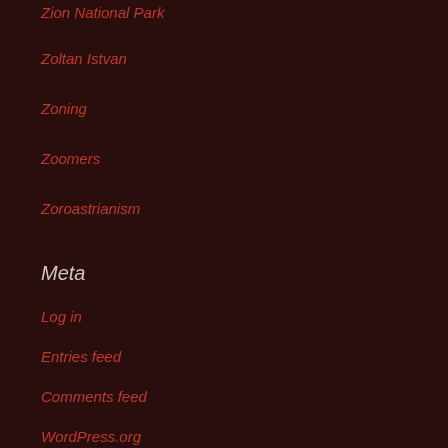Zion National Park
Zoltan Istvan
Zoning
Zoomers
Zoroastrianism
Meta
Log in
Entries feed
Comments feed
WordPress.org